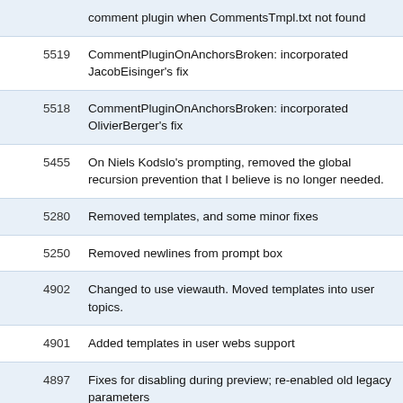| ID | Description |
| --- | --- |
|  | comment plugin when CommentsTmpl.txt not found |
| 5519 | CommentPluginOnAnchorsBroken: incorporated JacobEisinger's fix |
| 5518 | CommentPluginOnAnchorsBroken: incorporated OlivierBerger's fix |
| 5455 | On Niels Kodslo's prompting, removed the global recursion prevention that I believe is no longer needed. |
| 5280 | Removed templates, and some minor fixes |
| 5250 | Removed newlines from prompt box |
| 4902 | Changed to use viewauth. Moved templates into user topics. |
| 4901 | Added templates in user webs support |
| 4897 | Fixes for disabling during preview; re-enabled old legacy parameters |
| 4889 | Chopped down from PeterMasiar version, removing several parameters, savecomment script, changing way templates are done. Major |